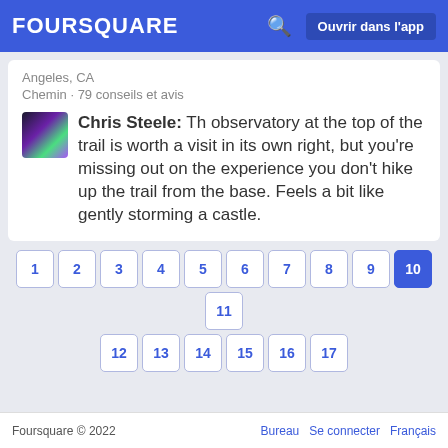FOURSQUARE | Ouvrir dans l'app
Angeles, CA
Chemin · 79 conseils et avis
Chris Steele: Th observatory at the top of the trail is worth a visit in its own right, but you're missing out on the experience you don't hike up the trail from the base. Feels a bit like gently storming a castle.
1 2 3 4 5 6 7 8 9 10 11 12 13 14 15 16 17
Foursquare © 2022  Bureau  Se connecter  Français